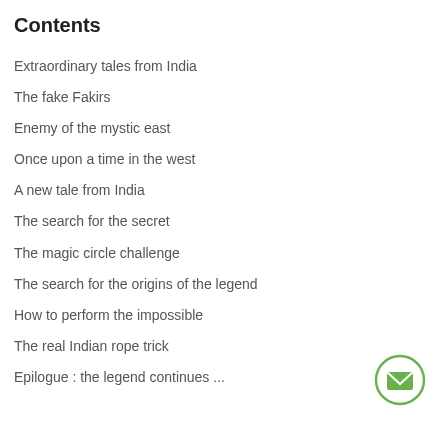Contents
Extraordinary tales from India
The fake Fakirs
Enemy of the mystic east
Once upon a time in the west
A new tale from India
The search for the secret
The magic circle challenge
The search for the origins of the legend
How to perform the impossible
The real Indian rope trick
Epilogue : the legend continues ...
[Figure (illustration): Green circle with envelope/mail icon inside]